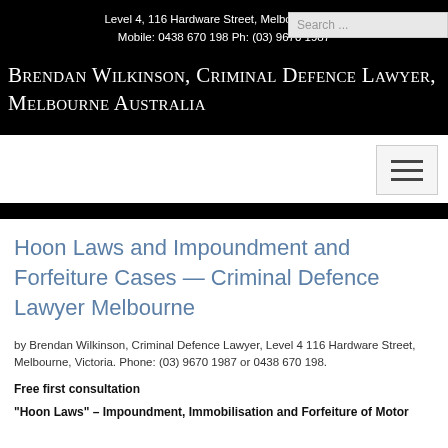Level 4, 116 Hardware Street, Melbourne 3000
Mobile: 0438 670 198 Ph: (03) 9670 1987
Brendan Wilkinson, Criminal Defence Lawyer, Melbourne Australia
[Figure (other): Hamburger menu button icon with three horizontal lines]
Hoon Laws and Impoundment and Forfeiture Cases — Criminal Defence Lawyer Melbourne
by Brendan Wilkinson, Criminal Defence Lawyer, Level 4 116 Hardware Street, Melbourne, Victoria. Phone: (03) 9670 1987 or 0438 670 198.
Free first consultation
"Hoon Laws" – Impoundment, Immobilisation and Forfeiture of Motor